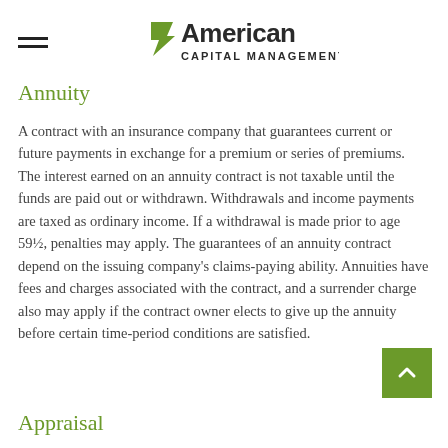American Capital Management
Annuity
A contract with an insurance company that guarantees current or future payments in exchange for a premium or series of premiums. The interest earned on an annuity contract is not taxable until the funds are paid out or withdrawn. Withdrawals and income payments are taxed as ordinary income. If a withdrawal is made prior to age 59½, penalties may apply. The guarantees of an annuity contract depend on the issuing company's claims-paying ability. Annuities have fees and charges associated with the contract, and a surrender charge also may apply if the contract owner elects to give up the annuity before certain time-period conditions are satisfied.
Appraisal